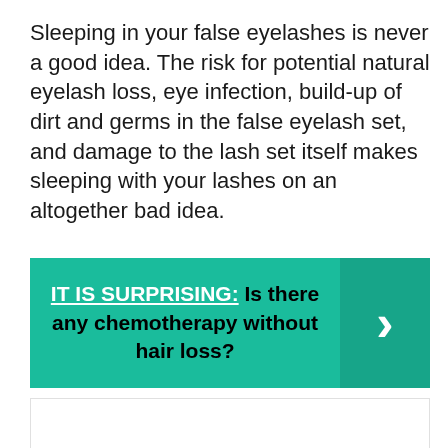Sleeping in your false eyelashes is never a good idea. The risk for potential natural eyelash loss, eye infection, build-up of dirt and germs in the false eyelash set, and damage to the lash set itself makes sleeping with your lashes on an altogether bad idea.
[Figure (infographic): Teal banner with text 'IT IS SURPRISING: Is there any chemotherapy without hair loss?' and a darker teal right arrow button]